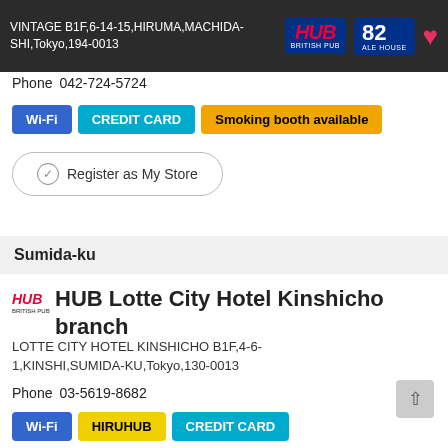VINTAGE B1F,6-14-15,HIRUMA,MACHIDA-SHI,Tokyo,194-0013 — HUB BRITISH PUB / 82 ALE HOUSE
Phone　042-724-5724
Wi-Fi | CREDIT CARD | Smoking booth available
Register as My Store
Sumida-ku
HUB Lotte City Hotel Kinshicho branch
LOTTE CITY HOTEL KINSHICHO B1F,4-6-1,KINSHI,SUMIDA-KU,Tokyo,130-0013
Phone　03-5619-8682
Wi-Fi | HIRUHUB | CREDIT CARD